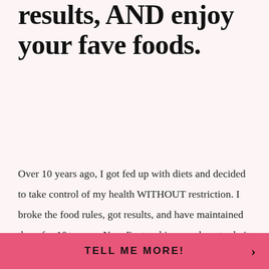results, AND enjoy your fave foods.
Over 10 years ago, I got fed up with diets and decided to take control of my health WITHOUT restriction. I broke the food rules, got results, and have maintained them for 10+ years. Now I'm teaching you how to do it too!
TELL ME MORE!